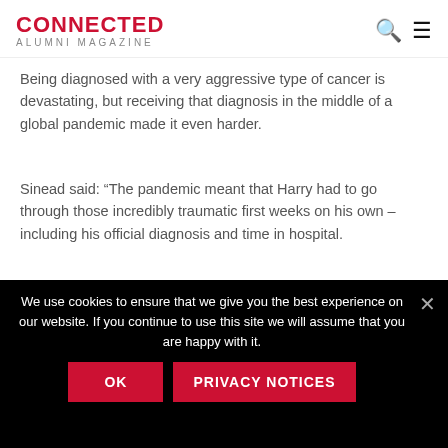CONNECTED ALUMNI MAGAZINE
Being diagnosed with a very aggressive type of cancer is devastating, but receiving that diagnosis in the middle of a global pandemic made it even harder.
Sinead said: “The pandemic meant that Harry had to go through those incredibly traumatic first weeks on his own – including his official diagnosis and time in hospital.
“Everything happened very quickly. It was only 14 days from going back to the doctor to say the tingling in his toes had
We use cookies to ensure that we give you the best experience on our website. If you continue to use this site we will assume that you are happy with it.